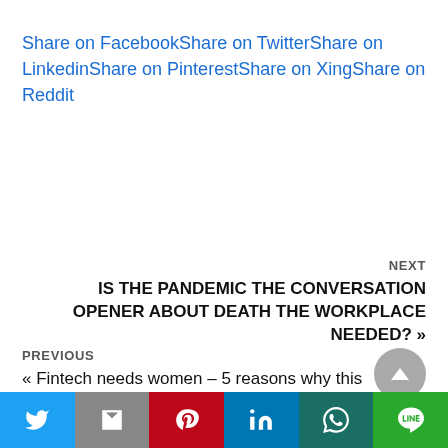Share on FacebookShare on TwitterShare on LinkedinShare on PinterestShare on XingShare on Reddit
NEXT
IS THE PANDEMIC THE CONVERSATION OPENER ABOUT DEATH THE WORKPLACE NEEDED? »
PREVIOUS
« Fintech needs women – 5 reasons why this is the place
[Figure (other): Social sharing bar with Twitter, Gmail/Email, Pinterest, LinkedIn, WhatsApp, and LINE buttons]